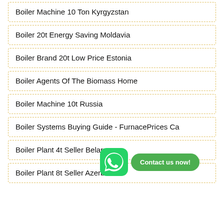Boiler Machine 10 Ton Kyrgyzstan
Boiler 20t Energy Saving Moldavia
Boiler Brand 20t Low Price Estonia
Boiler Agents Of The Biomass Home
Boiler Machine 10t Russia
Boiler Systems Buying Guide - FurnacePrices Ca
Boiler Plant 4t Seller Belarus
Boiler Plant 8t Seller Azerb…
[Figure (infographic): WhatsApp icon with green background and phone handset logo, alongside a green rounded button reading 'Contact us now!']